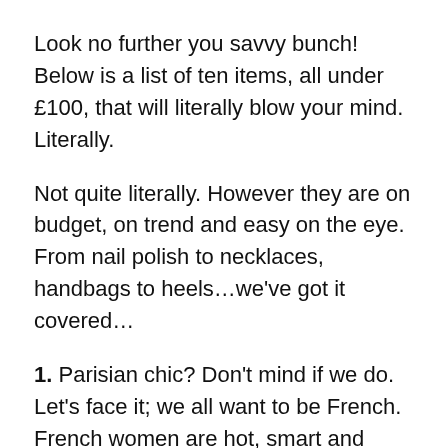Look no further you savvy bunch! Below is a list of ten items, all under £100, that will literally blow your mind. Literally.
Not quite literally. However they are on budget, on trend and easy on the eye. From nail polish to necklaces, handbags to heels…we've got it covered…
1. Parisian chic? Don't mind if we do. Let's face it; we all want to be French. French women are hot, smart and sexy. Fear not however- this beautiful satin A-line dress is the epitome of Parisian chic sophistication. Easily taken from day to evening wear with some accessories and heels. £70, available from Topshop